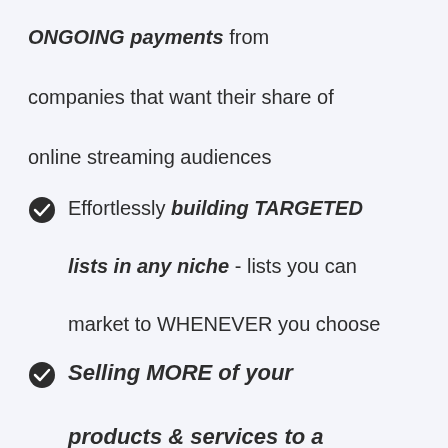ONGOING payments from companies that want their share of online streaming audiences
Effortlessly building TARGETED lists in any niche - lists you can market to WHENEVER you choose
Selling MORE of your products & services to a